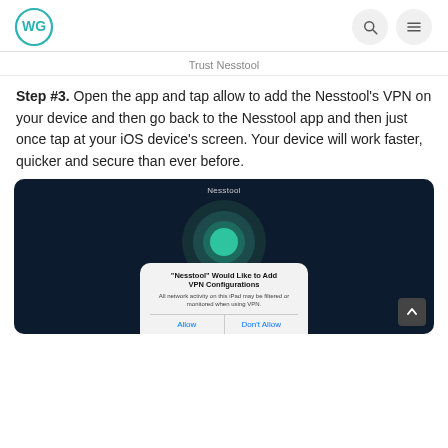Logo and navigation icons
Trust Nesstool
Step #3. Open the app and tap allow to add the Nesstool's VPN on your device and then go back to the Nesstool app and then just once tap at your iOS device's screen. Your device will work faster, quicker and secure than ever before.
[Figure (screenshot): Screenshot of Nesstool app on dark background showing VPN concentric circles and a dialog box saying 'Nesstool Would Like to Add VPN Configurations' with Allow and Don't Allow buttons]